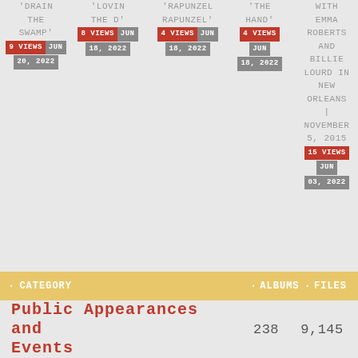'DRAIN THE SWAMP' 9 VIEWS JUN 20, 2022
'LOVIN THE D' 8 VIEWS JUN 18, 2022
'RAPUNZEL RAPUNZEL' 4 VIEWS JUN 18, 2022
'THE HAND' 4 VIEWS JUN 18, 2022
WITH EMMA ROBERTS AND BILLIE LOURD IN NEW ORLEANS | NOVEMBER 5, 2015 15 VIEWS JUN 03, 2022
| CATEGORY | ALBUMS | FILES |
| --- | --- | --- |
| Public Appearances and Events | 238 | 9,145 |